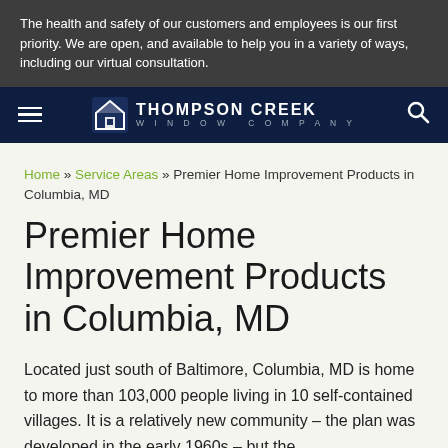The health and safety of our customers and employees is our first priority. We are open, and available to help you in a variety of ways, including our virtual consultation.
Thompson Creek Window Company
Home » Service Areas » Premier Home Improvement Products in Columbia, MD
Premier Home Improvement Products in Columbia, MD
Located just south of Baltimore, Columbia, MD is home to more than 103,000 people living in 10 self-contained villages. It is a relatively new community – the plan was developed in the early 1960s – but the